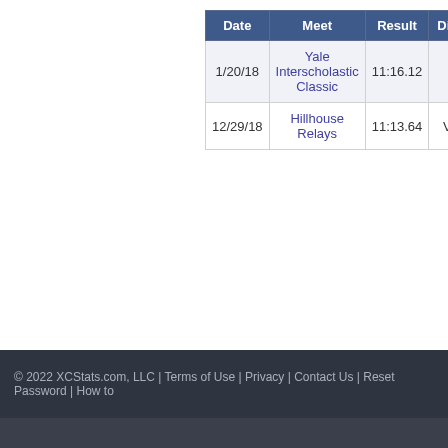| Date | Meet | Result | Div |
| --- | --- | --- | --- |
| 1/20/18 | Yale Interscholastic Classic | 11:16.12 |  |
| 12/29/18 | Hillhouse Relays | 11:13.64 | V | (Δ= |
© 2022 XCStats.com, LLC | Terms of Use | Privacy | Contact Us | Reset Password | How to